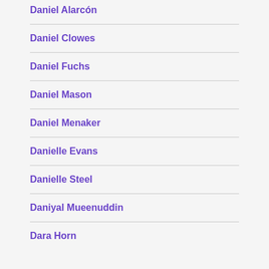Daniel Alarcón
Daniel Clowes
Daniel Fuchs
Daniel Mason
Daniel Menaker
Danielle Evans
Danielle Steel
Daniyal Mueenuddin
Dara Horn